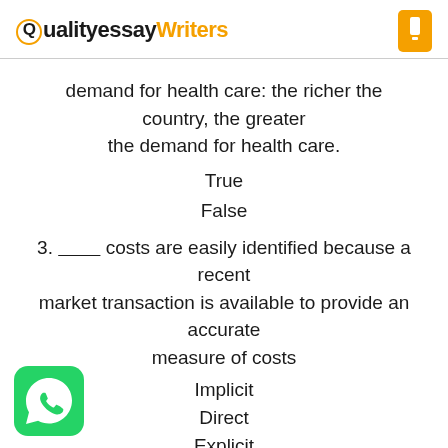QualityessayWriters
demand for health care: the richer the country, the greater the demand for health care.
True
False
3. ________ costs are easily identified because a recent market transaction is available to provide an accurate measure of costs
Implicit
Direct
Explicit
Indirect
[Figure (logo): WhatsApp green icon with phone symbol]